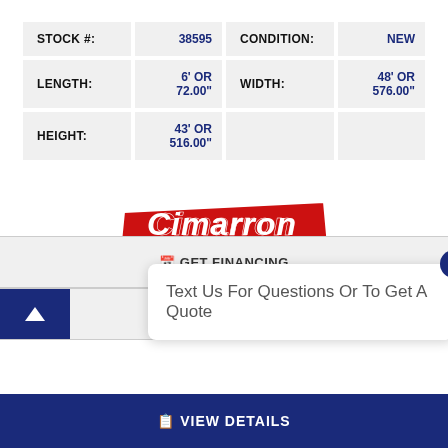| STOCK #: | 38595 | CONDITION: | NEW |
| LENGTH: | 6' OR 72.00" | WIDTH: | 48' OR 576.00" |
| HEIGHT: | 43' OR 516.00" |  |  |
[Figure (logo): Cimarron Trailers logo in red with italic lettering]
Text Us For Questions Or To Get A Quote
CONTACT US
Text us!
VIEW DETAILS